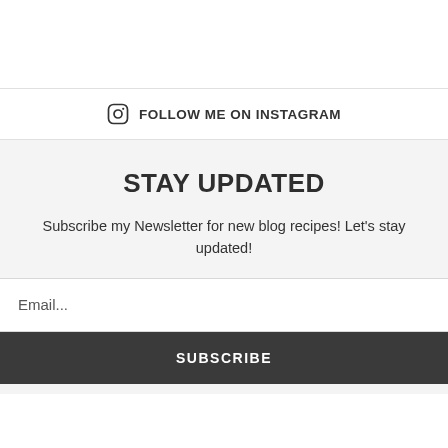FOLLOW ME ON INSTAGRAM
STAY UPDATED
Subscribe my Newsletter for new blog recipes! Let's stay updated!
Email...
SUBSCRIBE